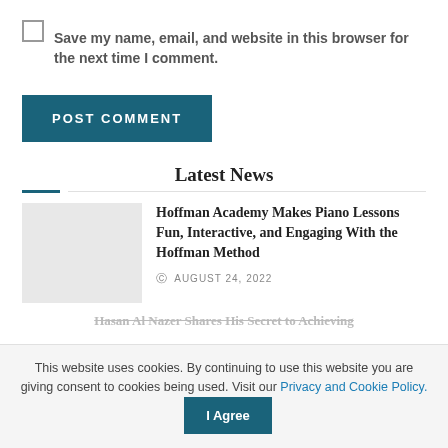Save my name, email, and website in this browser for the next time I comment.
POST COMMENT
Latest News
Hoffman Academy Makes Piano Lessons Fun, Interactive, and Engaging With the Hoffman Method
AUGUST 24, 2022
Hasan Al Nazer Shares His Secret to Achieving
This website uses cookies. By continuing to use this website you are giving consent to cookies being used. Visit our Privacy and Cookie Policy.
I Agree